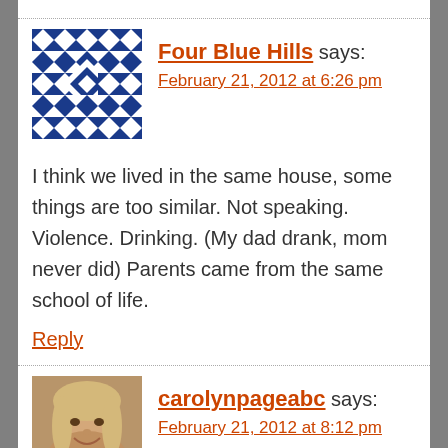[Figure (illustration): Blue and white geometric/mosaic pattern avatar for Four Blue Hills commenter]
Four Blue Hills says:
February 21, 2012 at 6:26 pm
I think we lived in the same house, some things are too similar. Not speaking. Violence. Drinking. (My dad drank, mom never did) Parents came from the same school of life.
Reply
[Figure (photo): Photo avatar of carolynpageabc, a woman with blonde hair smiling]
carolynpageabc says:
February 21, 2012 at 8:12 pm
My father wouldn't drink. Seems when he did